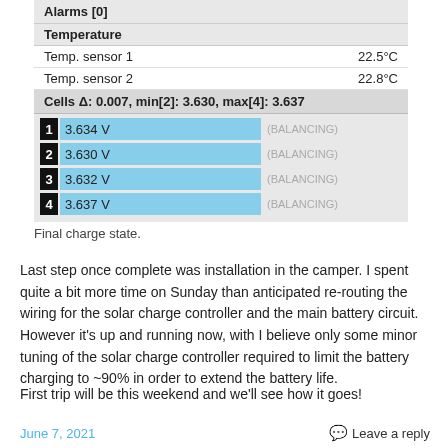[Figure (screenshot): Battery management system screenshot showing Alarms [0], Temperature readings (Temp. sensor 1: 22.5°C, Temp. sensor 2: 22.8°C), Cells delta: 0.007, min[2]: 3.630, max[4]: 3.637, and four cell voltage bars (1: 3.634 V, 2: 3.630 V, 3: 3.632 V, 4: 3.637 V) all showing (BALANCING)]
Final charge state.
Last step once complete was installation in the camper. I spent quite a bit more time on Sunday than anticipated re-routing the wiring for the solar charge controller and the main battery circuit. However it's up and running now, with I believe only some minor tuning of the solar charge controller required to limit the battery charging to ~90% in order to extend the battery life.
First trip will be this weekend and we'll see how it goes!
June 7, 2021    Leave a reply